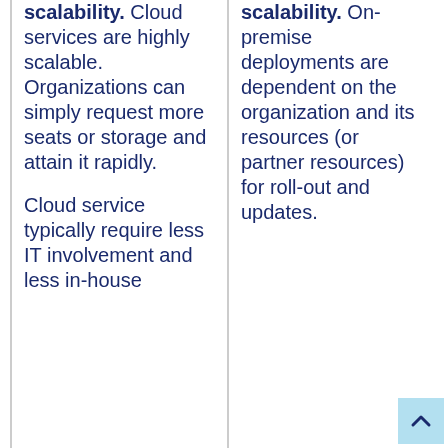scalability. Cloud services are highly scalable. Organizations can simply request more seats or storage and attain it rapidly.
Cloud service typically require less IT involvement and less in-house
scalability. On-premise deployments are dependent on the organization and its resources (or partner resources) for roll-out and updates.